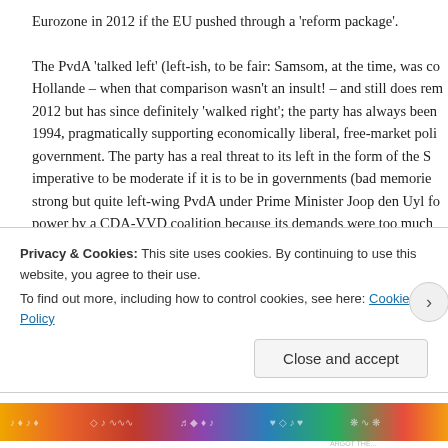Eurozone in 2012 if the EU pushed through a 'reform package'.
The PvdA 'talked left' (left-ish, to be fair: Samsom, at the time, was compared to Hollande – when that comparison wasn't an insult! – and still does remember 2012 but has since definitely 'walked right'; the party has always been since 1994, pragmatically supporting economically liberal, free-market poli government. The party has a real threat to its left in the form of the S imperative to be moderate if it is to be in governments (bad memories strong but quite left-wing PvdA under Prime Minister Joop den Uyl fo power by a CDA-VVD coalition because its demands were too much fo rivals to its right (in the form of D66). How can the PvdA 'hold the left enough for government?
In polls, Wilders' PVV, whose radical anti-EU platform seemed to be w heights – up to 27-31 seats in polls, leading the field or tied with the V
Privacy & Cookies: This site uses cookies. By continuing to use this website, you agree to their use.
To find out more, including how to control cookies, see here: Cookie Policy
Close and accept